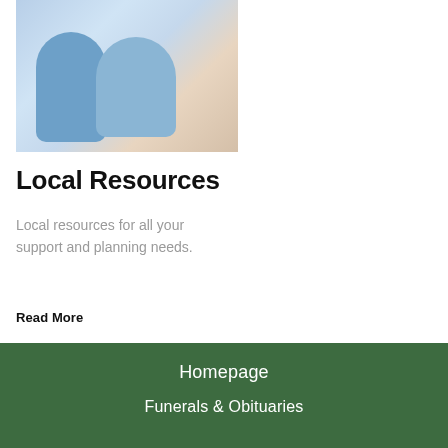[Figure (photo): Two elderly people, a woman and a man, smiling and looking at a laptop computer together]
Local Resources
Local resources for all your support and planning needs.
Read More
Homepage
Funerals & Obituaries